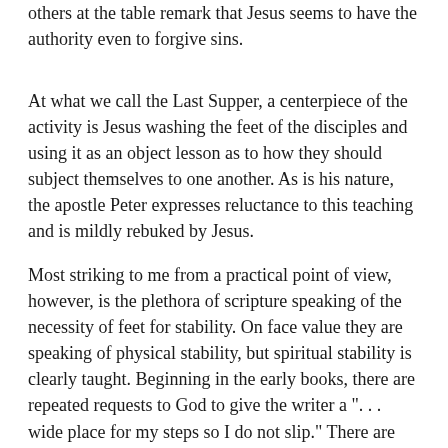others at the table remark that Jesus seems to have the authority even to forgive sins.
At what we call the Last Supper, a centerpiece of the activity is Jesus washing the feet of the disciples and using it as an object lesson as to how they should subject themselves to one another. As is his nature, the apostle Peter expresses reluctance to this teaching and is mildly rebuked by Jesus.
Most striking to me from a practical point of view, however, is the plethora of scripture speaking of the necessity of feet for stability. On face value they are speaking of physical stability, but spiritual stability is clearly taught. Beginning in the early books, there are repeated requests to God to give the writer a ". . . wide place for my steps so I do not slip." There are requests from "a" wide "to return to feet" "having been overcome"